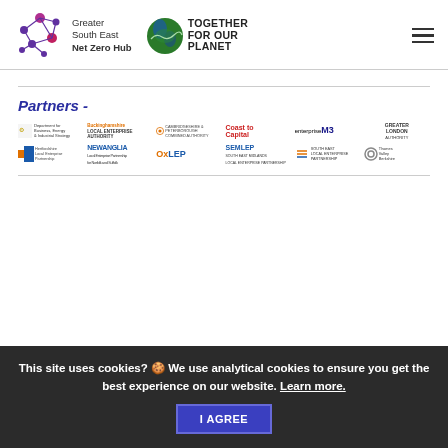[Figure (logo): Greater South East Net Zero Hub logo with network node graphic]
[Figure (logo): Together For Our Planet logo with globe graphic]
Partners -
[Figure (logo): Grid of partner logos: Department for Business Energy & Industrial Strategy, Buckinghamshire Local Enterprise Authority, Cambridgeshire & Peterborough Combined Authority, Coast to Capital, enterprise M3, Greater London Authority, Hertfordshire Local Enterprise Partnership, New Anglia, OxLEP, SEMLEP, South East, Thames Valley Berkshire]
This site uses cookies? 🍪 We use analytical cookies to ensure you get the best experience on our website. Learn more.